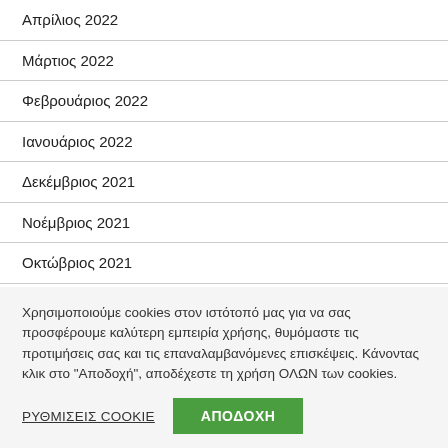Απρίλιος 2022
Μάρτιος 2022
Φεβρουάριος 2022
Ιανουάριος 2022
Δεκέμβριος 2021
Νοέμβριος 2021
Οκτώβριος 2021
Ιούνιος 2021
Χρησιμοποιούμε cookies στον ιστότοπό μας για να σας προσφέρουμε καλύτερη εμπειρία χρήσης, θυμόμαστε τις προτιμήσεις σας και τις επαναλαμβανόμενες επισκέψεις. Κάνοντας κλικ στο "Αποδοχή", αποδέχεστε τη χρήση ΟΛΩΝ των cookies.
ΡΥΘΜΙΣΕΙΣ COOKIE | ΑΠΟΔΟΧΗ